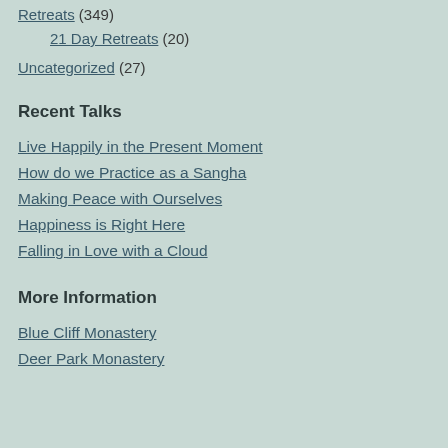Retreats (349)
21 Day Retreats (20)
Uncategorized (27)
Recent Talks
Live Happily in the Present Moment
How do we Practice as a Sangha
Making Peace with Ourselves
Happiness is Right Here
Falling in Love with a Cloud
More Information
Blue Cliff Monastery
Deer Park Monastery